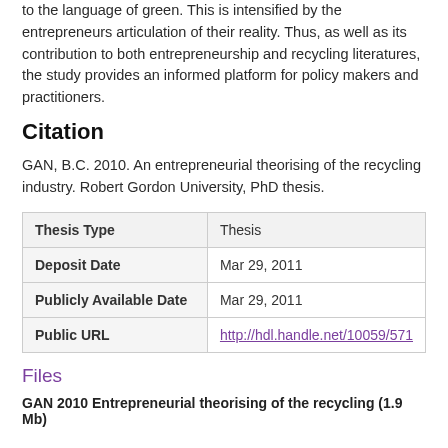to the language of green. This is intensified by the entrepreneurs articulation of their reality. Thus, as well as its contribution to both entrepreneurship and recycling literatures, the study provides an informed platform for policy makers and practitioners.
Citation
GAN, B.C. 2010. An entrepreneurial theorising of the recycling industry. Robert Gordon University, PhD thesis.
| Thesis Type | Thesis |
| Deposit Date | Mar 29, 2011 |
| Publicly Available Date | Mar 29, 2011 |
| Public URL | http://hdl.handle.net/10059/571 |
Files
GAN 2010 Entrepreneurial theorising of the recycling (1.9 Mb)